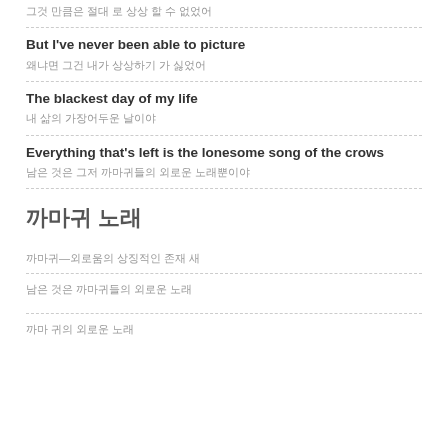그것 만큼은 절대 로 상상 할 수 없었어
But I've never been able to picture
왜냐면 그건 내가 상상하기 가 싫었어
The blackest day of my life
내 삶의 가장어두운 날이야
Everything that's left is the lonesome song of the crows
남은 것은 그저 까마귀들의 외로운 노래뿐이야
까마귀 노래
까마귀—외로움의 상징적인 존재 새
남은 것은 까마귀들의 외로운 노래
까마 귀의 외로운 노래